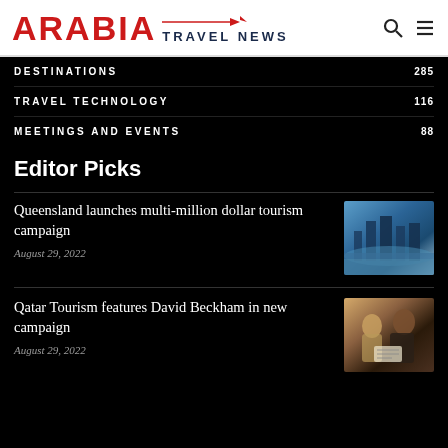ARABIA TRAVEL NEWS
DESTINATIONS 285
TRAVEL TECHNOLOGY 116
MEETINGS AND EVENTS 88
Editor Picks
Queensland launches multi-million dollar tourism campaign
August 29, 2022
[Figure (photo): Aerial view of Queensland city with river and skyline]
Qatar Tourism features David Beckham in new campaign
August 29, 2022
[Figure (photo): David Beckham with a woman in hijab looking at a document]